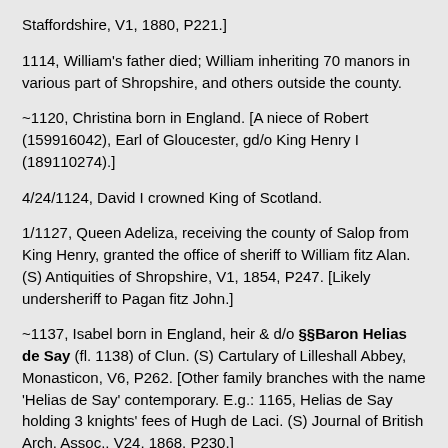Staffordshire, V1, 1880, P221.]
1114, William's father died; William inheriting 70 manors in various part of Shropshire, and others outside the county.
~1120, Christina born in England. [A niece of Robert (159916042), Earl of Gloucester, gd/o King Henry I (189110274).]
4/24/1124, David I crowned King of Scotland.
1/1127, Queen Adeliza, receiving the county of Salop from King Henry, granted the office of sheriff to William fitz Alan. (S) Antiquities of Shropshire, V1, 1854, P247. [Likely undersheriff to Pagan fitz John.]
~1137, Isabel born in England, heir & d/o §§Baron Helias de Say (fl. 1138) of Clun. (S) Cartulary of Lilleshall Abbey, Monasticon, V6, P262. [Other family branches with the name 'Helias de Say' contemporary. E.g.: 1165, Helias de Say holding 3 knights' fees of Hugh de Laci. (S) Journal of British Arch. Assoc., V24, 1868, P230.]